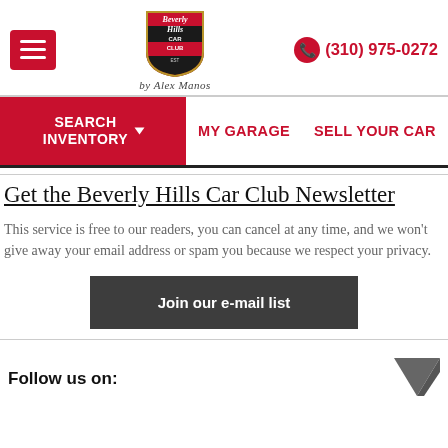[Figure (logo): Beverly Hills Car Club shield logo with 'by Alex Manos' script below]
(310) 975-0272
SEARCH INVENTORY
MY GARAGE
SELL YOUR CAR
Get the Beverly Hills Car Club Newsletter
This service is free to our readers, you can cancel at any time, and we won't give away your email address or spam you because we respect your privacy.
Join our e-mail list
Follow us on: